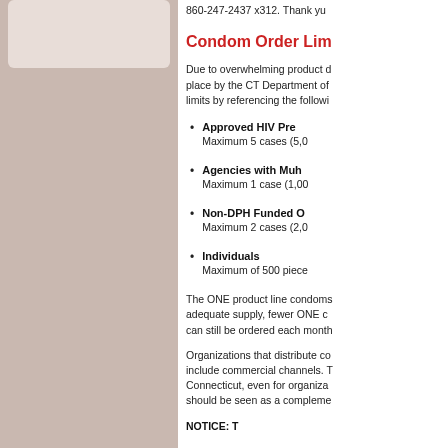860-247-2437 x312. Thank you
Condom Order Lim
Due to overwhelming product d place by the CT Department of limits by referencing the followi
Approved HIV Pre — Maximum 5 cases (5,0
Agencies with Mul — Maximum 1 case (1,00
Non-DPH Funded O — Maximum 2 cases (2,0
Individuals — Maximum of 500 piece
The ONE product line condoms adequate supply, fewer ONE c can still be ordered each month
Organizations that distribute co include commercial channels. T Connecticut, even for organiza should be seen as a compleme
NOTICE: T